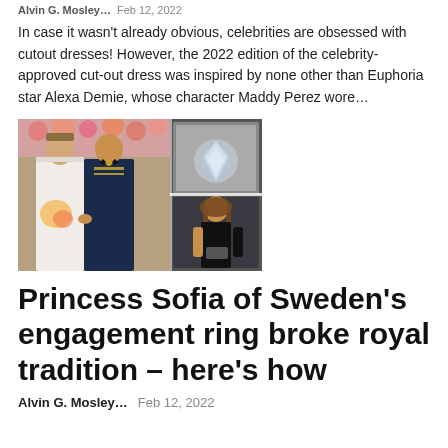Alvin G. Mosley…   Feb 12, 2022
In case it wasn't already obvious, celebrities are obsessed with cutout dresses! However, the 2022 edition of the celebrity-approved cut-out dress was inspired by none other than Euphoria star Alexa Demie, whose character Maddy Perez wore…
[Figure (photo): Collage of three photos: a couple in wedding attire (woman in white lace dress with bouquet, man in navy military uniform), an inset close-up of a diamond ring, and a woman in a black outfit standing alone.]
Princess Sofia of Sweden's engagement ring broke royal tradition – here's how
Alvin G. Mosley…   Feb 12, 2022